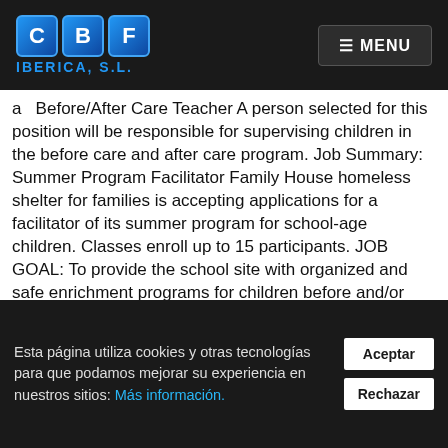CBF IBERICA, S.L. | MENU
a  Before/After Care Teacher A person selected for this position will be responsible for supervising children in the before care and after care program. Job Summary: Summer Program Facilitator Family House homeless shelter for families is accepting applications for a facilitator of its summer program for school-age children. Classes enroll up to 15 participants. JOB GOAL: To provide the school site with organized and safe enrichment programs for children before and/or after school, as well as during â¦ Posted: (2 days ago) Training Facilitator job
Esta página utiliza cookies y otras tecnologías para que podamos mejorar su experiencia en nuestros sitios: Más información.